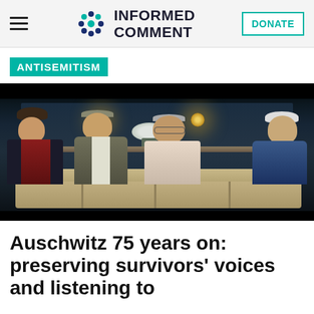INFORMED COMMENT | DONATE
ANTISEMITISM
[Figure (photo): Four elderly Holocaust survivors seated on a light-colored sofa in a dim, dark-toned room with two wall lights and a flower arrangement behind them.]
Auschwitz 75 years on: preserving survivors' voices and listening to